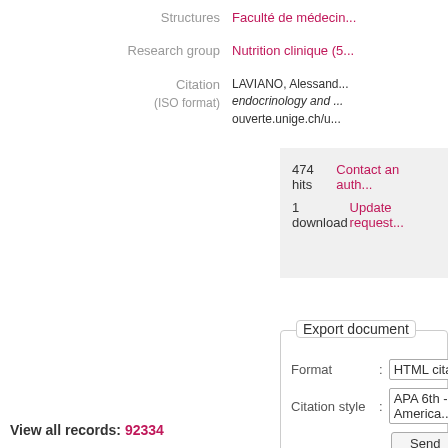Structures   Faculté de médecin...
Research group   Nutrition clinique (5...
Citation (ISO format)   LAVIANO, Alessand... endocrinology and ... ouverte.unige.ch/u...
474 hits
Contact an auth...
1 download
Update request...
Export document
Format : HTML citation
Citation style : APA 6th - America...
Send
View all records: 92334